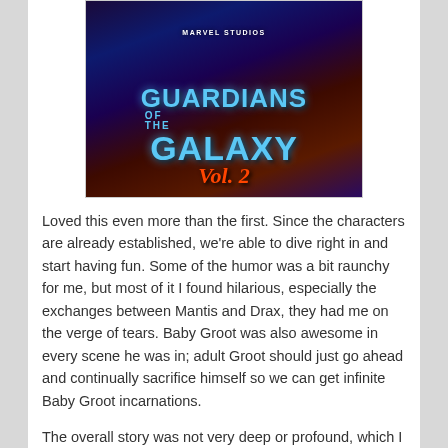[Figure (photo): Movie poster for Guardians of the Galaxy Vol. 2 by Marvel Studios, showing the title text in blue and orange/red against a space-themed colorful background with characters.]
Loved this even more than the first. Since the characters are already established, we're able to dive right in and start having fun. Some of the humor was a bit raunchy for me, but most of it I found hilarious, especially the exchanges between Mantis and Drax, they had me on the verge of tears. Baby Groot was also awesome in every scene he was in; adult Groot should just go ahead and continually sacrifice himself so we can get infinite Baby Groot incarnations.
The overall story was not very deep or profound, which I doubt would've worked with such overloads of comedy anyway, but it still managed to stay fast-paced and engaging throughout so that the 2+ hours running time